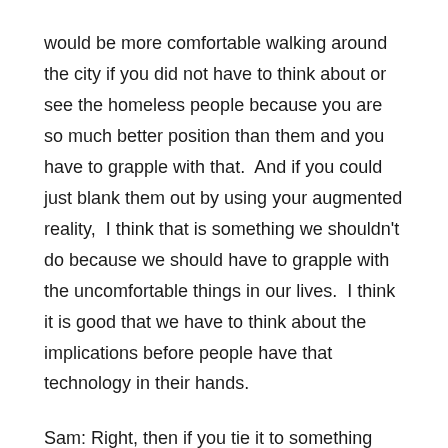would be more comfortable walking around the city if you did not have to think about or see the homeless people because you are so much better position than them and you have to grapple with that.  And if you could just blank them out by using your augmented reality,  I think that is something we shouldn't do because we should have to grapple with the uncomfortable things in our lives.  I think it is good that we have to think about the implications before people have that technology in their hands.
Sam: Right, then if you tie it to something like the Chinese Social Credit Score, if you drop below a certain amount, you are blanked from augmented reality but in real life people are alerted to your status on certain apps, and how close